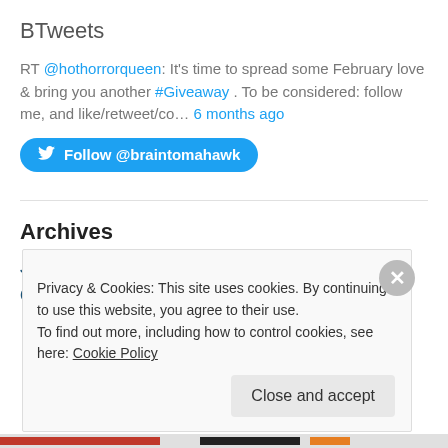BTweets
RT @hothorrorqueen: It's time to spread some February love & bring you another #Giveaway . To be considered: follow me, and like/retweet/co… 6 months ago
[Figure (other): Twitter Follow button: Follow @braintomahawk]
Archives
July 2016
October 2014
Privacy & Cookies: This site uses cookies. By continuing to use this website, you agree to their use. To find out more, including how to control cookies, see here: Cookie Policy
Close and accept